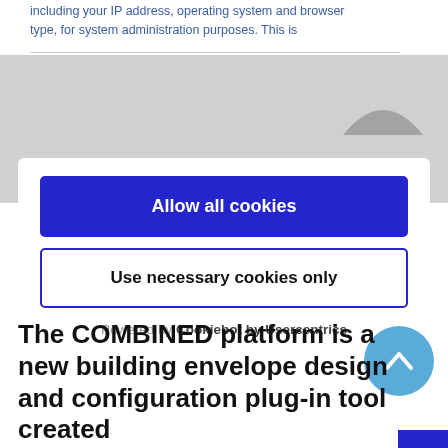including your IP address, operating system and browser type, for system administration purposes. This is
[Figure (screenshot): Cookie consent modal dialog with 'Allow all cookies' (blue button) and 'Use necessary cookies only' (outlined button), powered by Cookiebot by Usercentrics]
Powered by Cookiebot by Usercentrics
The COMBINED platform is a new building envelope design and configuration plug-in tool created